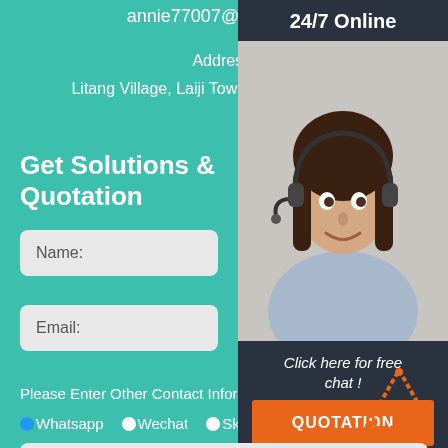annie77007@gmail.com
Address:
Litang Village, Laiji Town, Xinmi City, China
Get Solutions & Quotation
Name:
Email:
[Figure (photo): Customer service representative wearing headset, smiling, with 24/7 Online header and quotation popup widget]
Click here for free chat !
QUOTATION
Please Enter Other Contact Information
Whatsapp
Wechat
Skype
Viber
Contact information Whatsapp